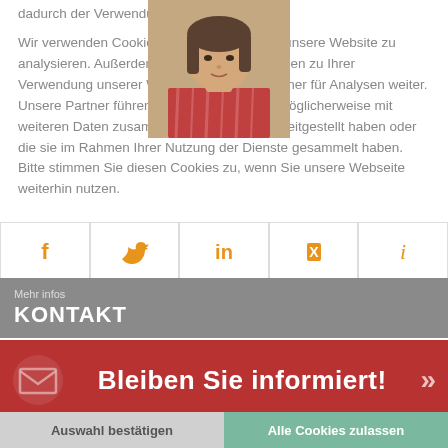dadurch der Verwendung von Cookies zu.

Wir verwenden Cookies, um die Zugriffe auf unsere Website zu analysieren. Außerdem geben wir Informationen zu Ihrer Verwendung unserer Website an unsere Partner für Analysen weiter. Unsere Partner führen diese Informationen möglicherweise mit weiteren Daten zusammen, die Sie ihnen bereitgestellt haben oder die sie im Rahmen Ihrer Nutzung der Dienste gesammelt haben. Bitte stimmen Sie diesen Cookies zu, wenn Sie unsere Webseite weiterhin nutzen.
[Figure (photo): Portrait photo of a woman with shoulder-length dark hair wearing a striped blouse]
[Figure (infographic): Row of 5 social media icons: Facebook, Twitter, LinkedIn, Xing, Info — all in orange/gold color on white bordered boxes]
[Figure (infographic): Dark red/burgundy banner with email envelope icon on left, bold white text 'Bleiben Sie informiert!' in center, and double chevron arrow on right]
Mehr infos
KONTAKT
Cornelia Hornschild (Publikationsstelle)
Alexandra Fante (Bibliothek und Publikationen / Anfragen)
Notwendig   Statistiken   Marketing
Auswahl bestätigen    Alle Cookies zulassen